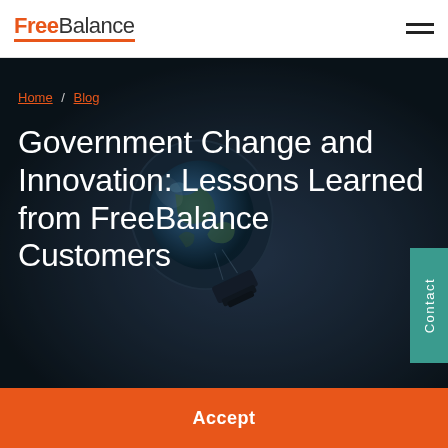FreeBalance
[Figure (photo): Hero background image showing a glass lightbulb with a globe/Earth inside, lying on its side on a dark surface, conveying innovation and global government change.]
Home / Blog
Government Change and Innovation: Lessons Learned from FreeBalance Customers
Accept